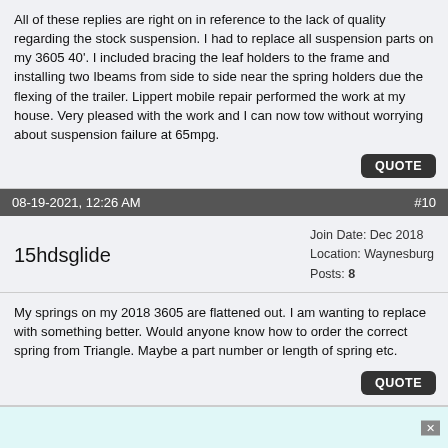All of these replies are right on in reference to the lack of quality regarding the stock suspension. I had to replace all suspension parts on my 3605 40'. I included bracing the leaf holders to the frame and installing two Ibeams from side to side near the spring holders due the flexing of the trailer. Lippert mobile repair performed the work at my house. Very pleased with the work and I can now tow without worrying about suspension failure at 65mpg.
QUOTE
08-19-2021, 12:26 AM   #10
15hdsglide
Join Date: Dec 2018
Location: Waynesburg
Posts: 8
My springs on my 2018 3605 are flattened out. I am wanting to replace with something better. Would anyone know how to order the correct spring from Triangle. Maybe a part number or length of spring etc.
QUOTE
[Figure (other): Advertisement banner with teal/cyan background and close button (X)]